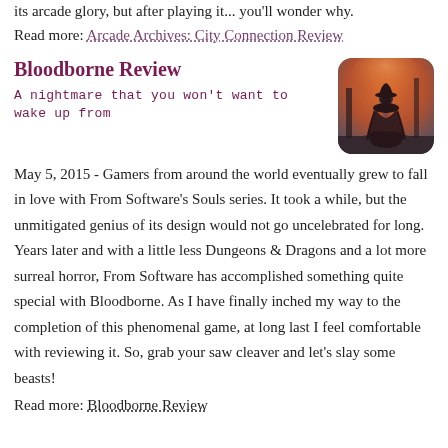its arcade glory, but after playing it... you'll wonder why.
Read more: Arcade Archives: City Connection Review
Bloodborne Review
A nightmare that you won't want to wake up from
[Figure (photo): A cloaked figure standing against a dramatic orange/grey sky background, resembling a Bloodborne character]
May 5, 2015 - Gamers from around the world eventually grew to fall in love with From Software's Souls series. It took a while, but the unmitigated genius of its design would not go uncelebrated for long. Years later and with a little less Dungeons & Dragons and a lot more surreal horror, From Software has accomplished something quite special with Bloodborne. As I have finally inched my way to the completion of this phenomenal game, at long last I feel comfortable with reviewing it. So, grab your saw cleaver and let's slay some beasts!
Read more: Bloodborne Review